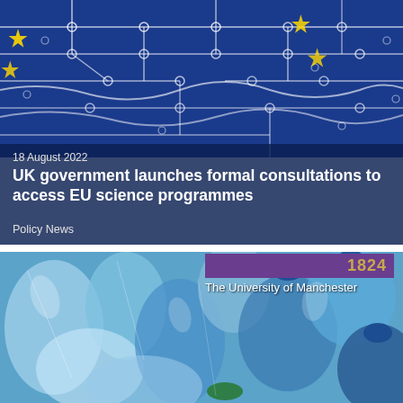[Figure (photo): EU flag overlaid with circuit board pattern showing blue background with white circuit lines, dots, and yellow EU stars]
18 August 2022
UK government launches formal consultations to access EU science programmes
Policy News
[Figure (photo): Crushed and crumpled plastic water bottles in blue and clear colors, with University of Manchester branding overlay showing '1824' in gold on purple background]